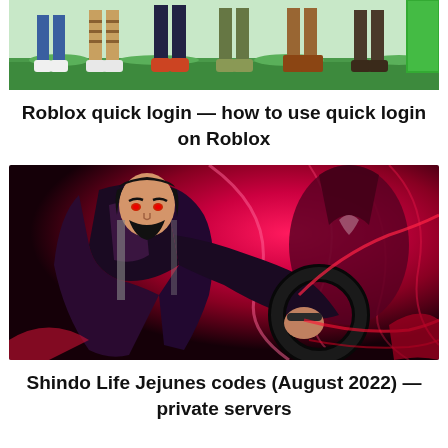[Figure (illustration): Top portion of an image showing the lower legs and feet of several Roblox-style characters standing on green grass]
Roblox quick login — how to use quick login on Roblox
[Figure (illustration): Anime-style illustration of a dark-caped male character with a black circular weapon against a vivid red and magenta energy background, from Shindo Life game]
Shindo Life Jejunes codes (August 2022) — private servers